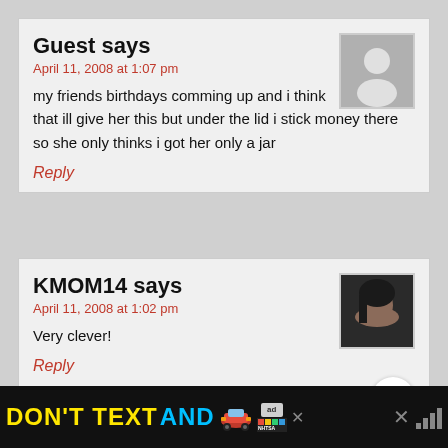Guest says
April 11, 2008 at 1:07 pm
my friends birthdays comming up and i think that ill give her this but under the lid i stick money there so she only thinks i got her only a jar
Reply
KMOM14 says
April 11, 2008 at 1:02 pm
Very clever!
Reply
[Figure (infographic): WHAT'S NEXT arrow with Nail Polish Seashells thumbnail]
gobitha says
[Figure (infographic): Ad banner: DON'T TEXT AND with car emoji, NHTSA ad label]